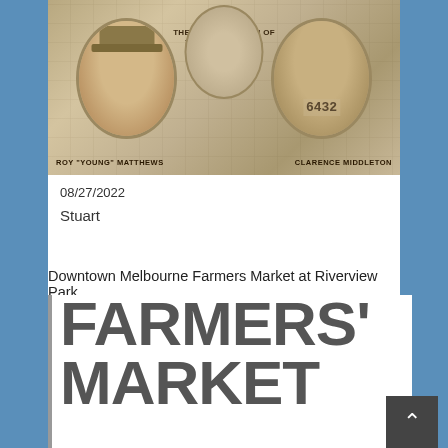[Figure (photo): Historical sepia-toned photograph showing two oval portrait photos. Left portrait labeled ROY "YOUNG" MATTHEWS, right portrait labeled CLARENCE MIDDLETON. Center text reads THE KING AND QUEEN OF THE EVERGLADES. A number 6432 appears on the right portrait. Map texture visible in background.]
08/27/2022
Stuart
Downtown Melbourne Farmers Market at Riverview Park
[Figure (logo): Farmers Market logo with large bold text: FARMERS' MARKET in dark gray, with a vertical gray border line on the left side.]